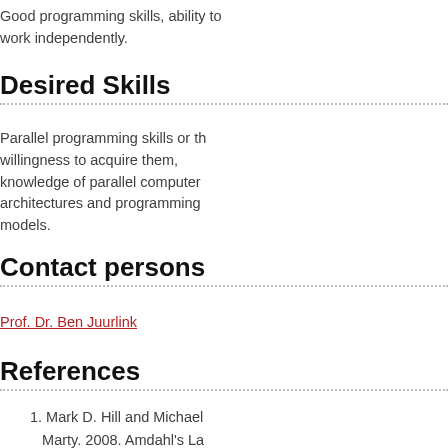Good programming skills, ability to work independently.
Desired Skills
Parallel programming skills or the willingness to acquire them, knowledge of parallel computer architectures and programming models.
Contact persons
Prof. Dr. Ben Juurlink
References
1. Mark D. Hill and Michael Marty. 2008. Amdahl's Law in the Multicore Era.